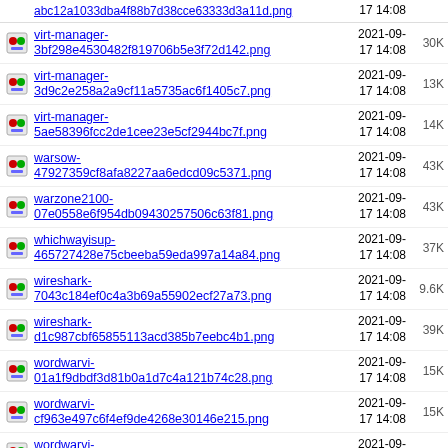virt-manager-3bf298e4530482f819706b5e3f72d142.png  2021-09-17 14:08  30K
virt-manager-3d9c2e258a2a9cf11a5735ac6f1405c7.png  2021-09-17 14:08  13K
virt-manager-5ae58396fcc2de1cee23e5cf2944bc7f.png  2021-09-17 14:08  14K
warsow-47927359cf8afa8227aa6edcd09c5371.png  2021-09-17 14:08  43K
warzone2100-07e0558e6f954db09430257506c63f81.png  2021-09-17 14:08  43K
whichwayisup-465727428e75cbeeba59eda997a14a84.png  2021-09-17 14:08  37K
wireshark-7043c184ef0c4a3b69a55902ecf27a73.png  2021-09-17 14:08  9.6K
wireshark-d1c987cbf65855113acd385b7eebc4b1.png  2021-09-17 14:08  39K
wordwarvi-01a1f9dbdf3d81b0a1d7c4a121b74c28.png  2021-09-17 14:08  15K
wordwarvi-cf963e497c6f4ef9de4268e30146e215.png  2021-09-17 14:08  15K
wordwarvi-dca7227ffc54abeea2e4053b6d90db88.png  2021-09-17 14:08  6.3K